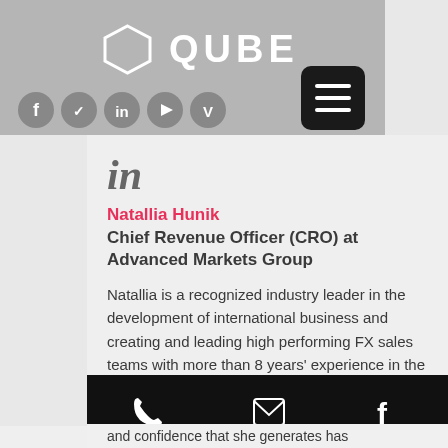[Figure (logo): QUBE logo with hexagon icon and white text on grey background]
[Figure (infographic): Social media icons row: Facebook, Twitter, LinkedIn, YouTube, Vimeo]
[Figure (infographic): Hamburger menu button (dark rounded square with three white lines)]
[Figure (logo): LinkedIn 'in' icon]
Natallia Hunik
Chief Revenue Officer (CRO) at Advanced Markets Group
Natallia is a recognized industry leader in the development of international business and creating and leading high performing FX sales teams with more than 8 years' experience in the field. Natallia is responsible for spearheading Advanced Markets' global expansion efforts by cultivating business relationships with industry leaders
and confidence that she generates has